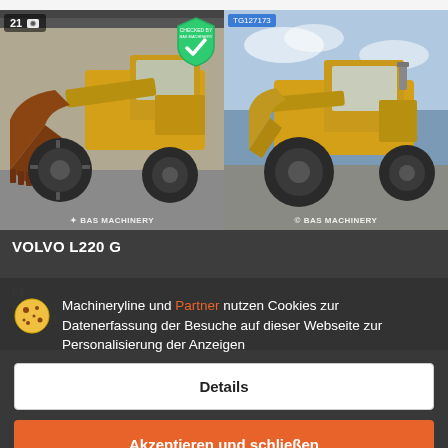[Figure (photo): Yellow Volvo wheel loader with large bucket, inside a building. Badge showing '21' and camera icon top-left. Green 'Checked by' shield badge top-right. BAS MACHINERY watermark at bottom.]
[Figure (photo): Yellow Volvo wheel loader parked outdoors against a cloudy sky. Blue ID badge top-left. BAS MACHINERY watermark at bottom.]
VOLVO L220 G
Machineryline und Partner nutzen Cookies zur Datenerfassung der Besuche auf dieser Webseite zur Personalisierung der Anzeigen
Details
Akzeptieren und schließen